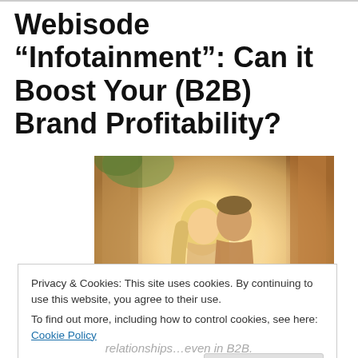Webisode “Infotainment”: Can it Boost Your (B2B) Brand Profitability?
[Figure (photo): A couple leaning in for a kiss, photographed in warm golden tones with a blurred architectural background, suggesting romance and emotional connection.]
Privacy & Cookies: This site uses cookies. By continuing to use this website, you agree to their use.
To find out more, including how to control cookies, see here: Cookie Policy
Close and accept
relationships…even in B2B.